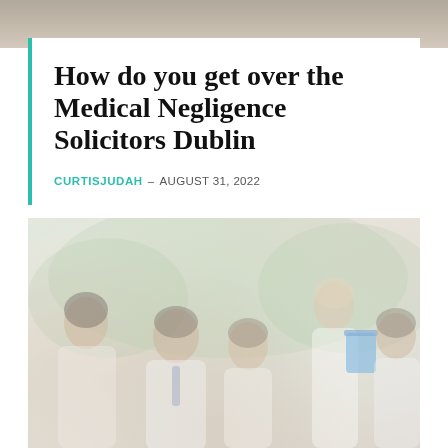[Figure (photo): Top decorative banner strip with muted warm gray/beige gradient]
How do you get over the Medical Negligence Solicitors Dublin
CURTISJUDAH – AUGUST 31, 2022
[Figure (photo): Group of five professionals smiling in an office setting; woman at far right holding a blue folder/clipboard; faded/washed out effect overlaid on photo]